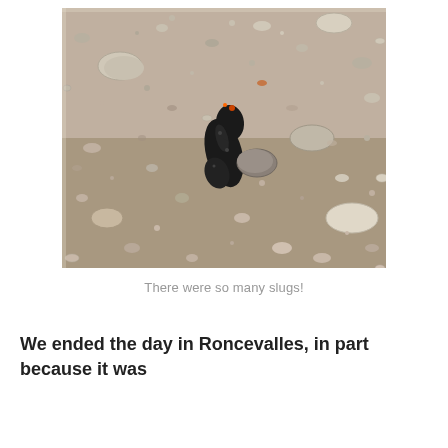[Figure (photo): A black slug crawling over small pebbles and gravel on a dirt path, viewed from above at close range.]
There were so many slugs!
We ended the day in Roncevalles, in part because it was